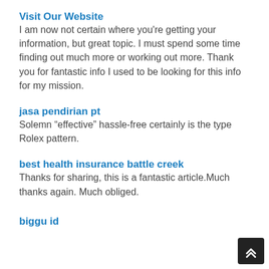Visit Our Website
I am now not certain where you're getting your information, but great topic. I must spend some time finding out much more or working out more. Thank you for fantastic info I used to be looking for this info for my mission.
jasa pendirian pt
Solemn “effective” hassle-free certainly is the type Rolex pattern.
best health insurance battle creek
Thanks for sharing, this is a fantastic article.Much thanks again. Much obliged.
biggu id